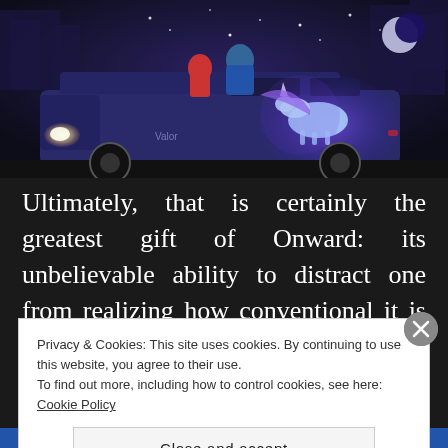[Figure (illustration): Animated movie scene from Pixar's Onward showing characters sitting on top of a dark blue van with a glowing unicorn painted on the side, set against a purple night sky cityscape background. The van has the word 'Valor' on it.]
Ultimately, that is certainly the greatest gift of Onward: its unbelievable ability to distract one from realizing how conventional it is deep down. And Pixar pulls it all off so well that
Privacy & Cookies: This site uses cookies. By continuing to use this website, you agree to their use.
To find out more, including how to control cookies, see here: Cookie Policy
Close and accept